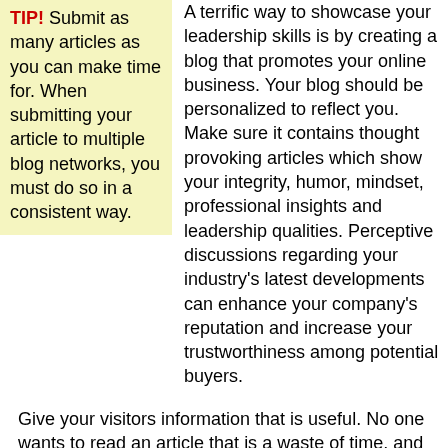TIP! Submit as many articles as you can make time for. When submitting your article to multiple blog networks, you must do so in a consistent way.
A terrific way to showcase your leadership skills is by creating a blog that promotes your online business. Your blog should be personalized to reflect you. Make sure it contains thought provoking articles which show your integrity, humor, mindset, professional insights and leadership qualities. Perceptive discussions regarding your industry's latest developments can enhance your company's reputation and increase your trustworthiness among potential buyers.
Give your visitors information that is useful. No one wants to read an article that is a waste of time, and your clients are no different.
The key to article markeing is to have an element on your site that
TIP! No matter how tempting it is, never